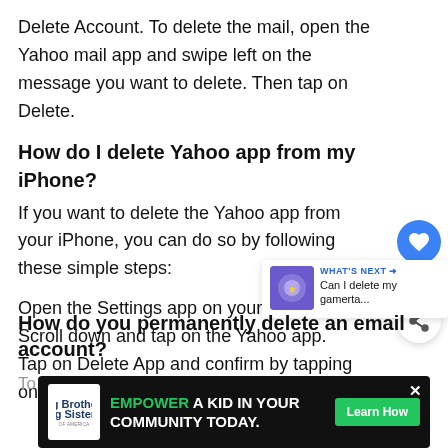Delete Account. To delete the mail, open the Yahoo mail app and swipe left on the message you want to delete. Then tap on Delete.
How do I delete Yahoo app from my iPhone?
If you want to delete the Yahoo app from your iPhone, you can do so by following these simple steps:
Open the Settings app on your iPhone.
Scroll down and tap on the Yahoo app.
Tap on Delete App and confirm by tapping on Delete again.
How do you permanently delete an email account?
To delete...will need to g...find...
[Figure (other): Big Brothers Big Sisters ad banner: EMPOWER A KID IN YOUR COMMUNITY TODAY. Learn How button.]